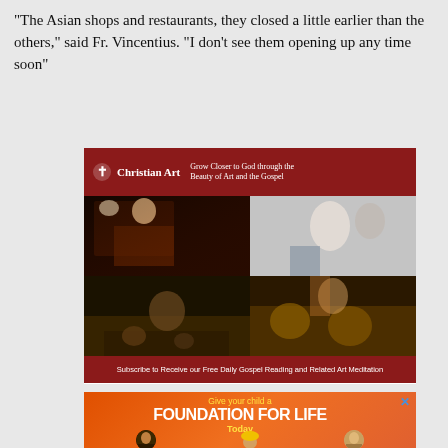"The Asian shops and restaurants, they closed a little earlier than the others," said Fr. Vincentius. "I don't see them opening up any time soon"
[Figure (advertisement): Christian Art advertisement with dark red header showing logo and tagline 'Grow Closer to God through the Beauty of Art and the Gospel', four religious paintings in a 2x2 grid (a scholar writing with skull, modern religious scene, people in poverty, Daniel in the lions den), and dark red footer reading 'Subscribe to Receive our Free Daily Gospel Reading and Related Art Meditation']
[Figure (advertisement): Orange/red advertisement with yellow text 'Give your child a', large white bold text 'FOUNDATION FOR LIFE', yellow 'Today', and three people's heads at the bottom - a young Black man with glasses, a child in a yellow hard hat, and a young man with glasses. Blue X close button in top right.]